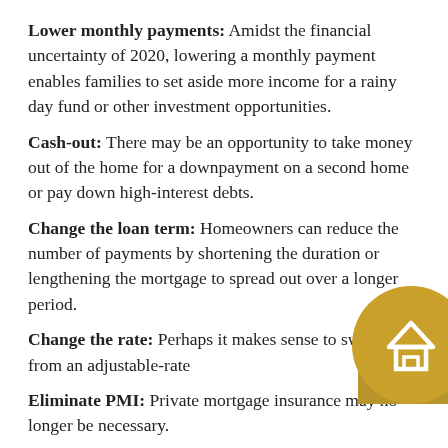Lower monthly payments: Amidst the financial uncertainty of 2020, lowering a monthly payment enables families to set aside more income for a rainy day fund or other investment opportunities.
Cash-out: There may be an opportunity to take money out of the home for a downpayment on a second home or pay down high-interest debts.
Change the loan term: Homeowners can reduce the number of payments by shortening the duration or lengthening the mortgage to spread out over a longer period.
Change the rate: Perhaps it makes sense to switch from an adjustable-rate [obscured]
Eliminate PMI: Private mortgage insurance may no longer be necessary.
[Figure (logo): Gold circular logo with a house icon inside, partially overlapping the text in the bottom-right corner, with a gold rectangle background element.]